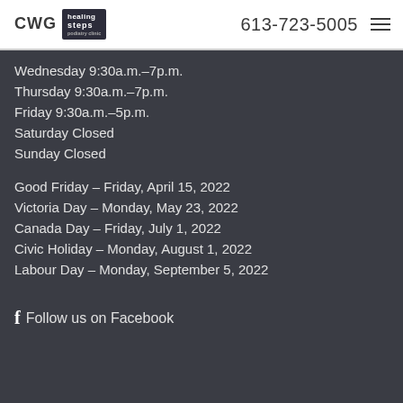CWG Healing Steps | 613-723-5005
Wednesday 9:30a.m.–7p.m.
Thursday 9:30a.m.–7p.m.
Friday 9:30a.m.–5p.m.
Saturday Closed
Sunday Closed
Good Friday – Friday, April 15, 2022
Victoria Day – Monday, May 23, 2022
Canada Day – Friday, July 1, 2022
Civic Holiday – Monday, August 1, 2022
Labour Day – Monday, September 5, 2022
Follow us on Facebook